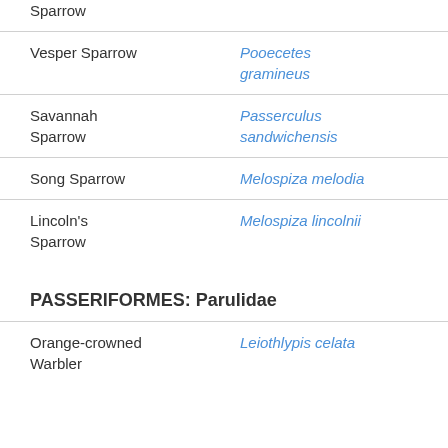| Common Name | Scientific Name |
| --- | --- |
| Sparrow |  |
| Vesper Sparrow | Pooecetes gramineus |
| Savannah Sparrow | Passerculus sandwichensis |
| Song Sparrow | Melospiza melodia |
| Lincoln's Sparrow | Melospiza lincolnii |
PASSERIFORMES: Parulidae
| Common Name | Scientific Name |
| --- | --- |
| Orange-crowned Warbler | Leiothlypis celata |